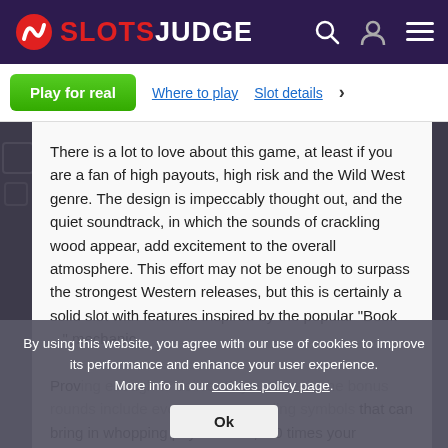SLOTSJUDGE
Play for real | Where to play | Slot details
There is a lot to love about this game, at least if you are a fan of high payouts, high risk and the Wild West genre. The design is impeccably thought out, and the quiet soundtrack, in which the sounds of crackling wood appear, add excitement to the overall atmosphere. This effort may not be enough to surpass the strongest Western releases, but this is certainly a solid slot with features inspired by the popular "Book ..." mechanic. Proving enough to deliver to your fans in the bonus rounds include even more expanding symbols that can bring in whopping payouts to 8,000 times your stake.
By using this website, you agree with our use of cookies to improve its performance and enhance your user experience. More info in our cookies policy page.